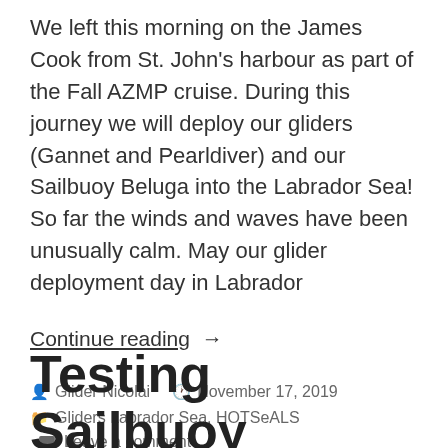We left this morning on the James Cook from St. John's harbour as part of the Fall AZMP cruise. During this journey we will deploy our gliders (Gannet and Pearldiver) and our Sailbuoy Beluga into the Labrador Sea! So far the winds and waves have been unusually calm. May our glider deployment day in Labrador
Continue reading →
By Glider Nicolai  November 17, 2019
Gliders Labrador Sea, HOTSeALS  Leave a comment
Testing Sailbuoy